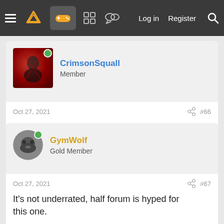Navigation bar with hamburger menu, logo, gamepad icon (active), grid icon, chat icon, Log in, Register, Search
CrimsonSquall
Member
Oct 27, 2021  #66
What were the stretch goals and vision for this game?
GymWolf
Gold Member
Oct 27, 2021  #67
It's not underrated, half forum is hyped for this one.

Personally it's my most hyped indie of 2021.

Last edited: Oct 27, 2021